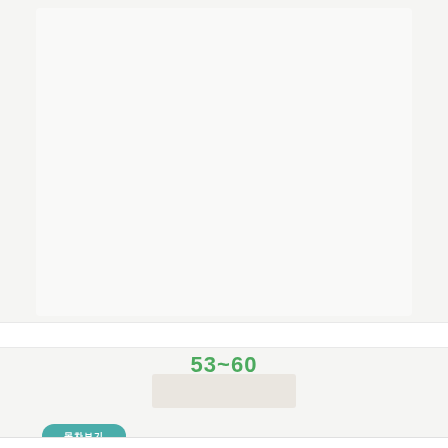[Figure (other): Large whitish content area representing a document page spread, light gray background panel]
53~60
[Figure (other): Thumbnail strip of document content, beige/tan colored rectangular area]
목차보기